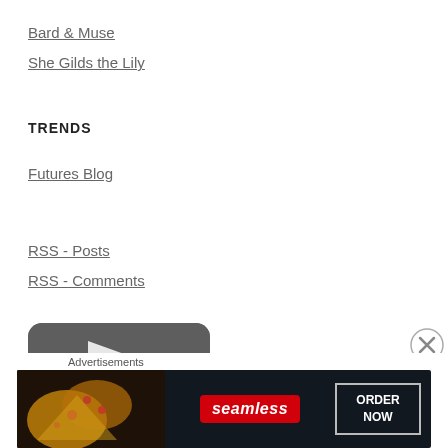Bard & Muse
She Gilds the Lily
TRENDS
Futures Blog
RSS - Posts
RSS - Comments
[Figure (screenshot): Partial dark rounded-rectangle banner/logo image visible at bottom of content area]
Advertisements
[Figure (infographic): Seamless food delivery advertisement banner showing pizza slices on dark background with Seamless logo in red and ORDER NOW button in white border box]